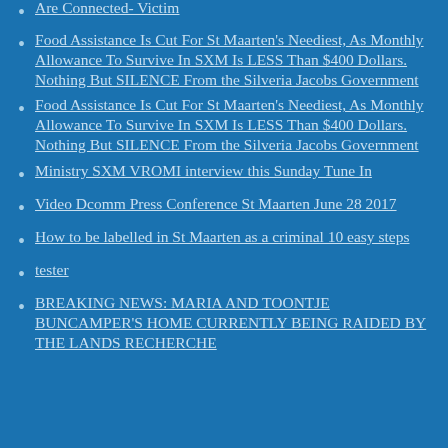Are Connected- Victim
Food Assistance Is Cut For St Maarten's Neediest, As Monthly Allowance To Survive In SXM Is LESS Than $400 Dollars. Nothing But SILENCE From the Silveria Jacobs Government
Food Assistance Is Cut For St Maarten's Neediest, As Monthly Allowance To Survive In SXM Is LESS Than $400 Dollars. Nothing But SILENCE From the Silveria Jacobs Government
Ministry SXM VROMI interview this Sunday Tune In
Video Dcomm Press Conference St Maarten June 28 2017
How to be labelled in St Maarten as a criminal 10 easy steps
tester
BREAKING NEWS: MARIA AND TOONTJE BUNCAMPER'S HOME CURRENTLY BEING RAIDED BY THE LANDS RECHERCHE